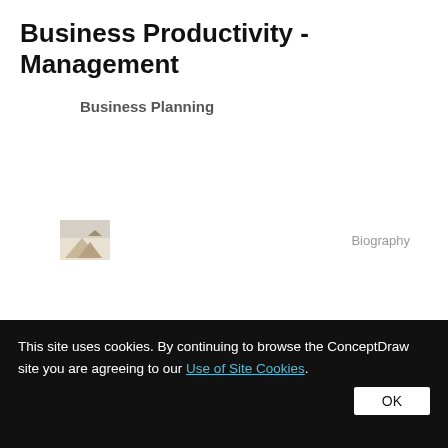Business Productivity - Management
Business Planning
[Figure (illustration): Small thumbnail image with a mountain/landscape graphic, partially visible. Next to it a 'Biography' label in grey text.]
This site uses cookies. By continuing to browse the ConceptDraw site you are agreeing to our Use of Site Cookies.